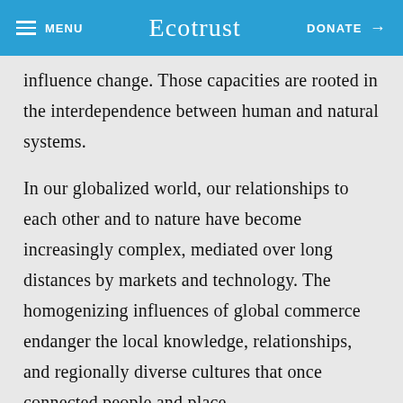MENU  Ecotrust  DONATE →
influence change. Those capacities are rooted in the interdependence between human and natural systems.
In our globalized world, our relationships to each other and to nature have become increasingly complex, mediated over long distances by markets and technology. The homogenizing influences of global commerce endanger the local knowledge, relationships, and regionally diverse cultures that once connected people and place.